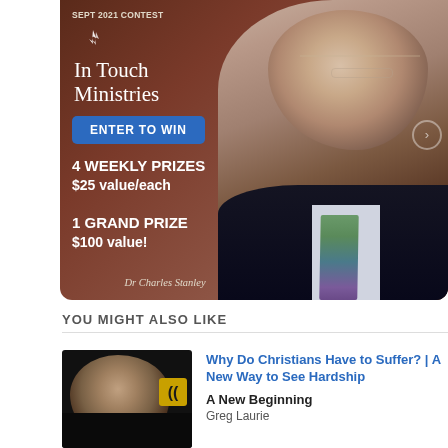[Figure (infographic): In Touch Ministries Sept 2021 Contest banner featuring Dr Charles Stanley. Shows logo, 'ENTER TO WIN' blue button, prize details: 4 Weekly Prizes $25 value/each, 1 Grand Prize $100 value!]
YOU MIGHT ALSO LIKE
[Figure (photo): Thumbnail photo of Greg Laurie with Harvest logo overlay]
Why Do Christians Have to Suffer? | A New Way to See Hardship
A New Beginning
Greg Laurie